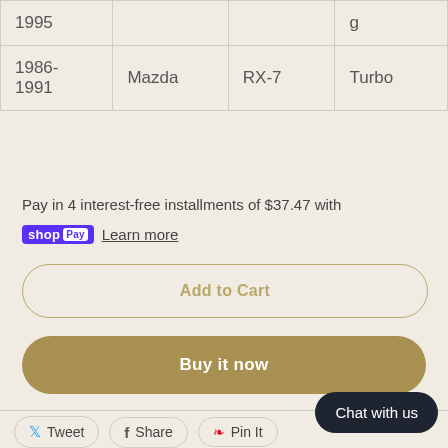| Year | Make | Model | Submodel |
| --- | --- | --- | --- |
| 1995 |  |  | g |
| 1986-
1991 | Mazda | RX-7 | Turbo |
Pay in 4 interest-free installments of $37.47 with
shopPay Learn more
Add to Cart
Buy it now
Tweet   Share   Pin It
Chat with us